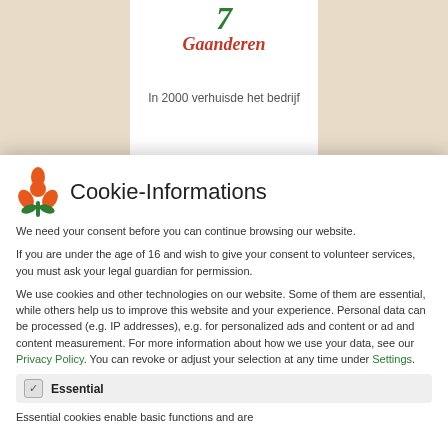[Figure (illustration): Top banner showing a website page partially visible behind a cookie consent modal. The banner has a beige/tan background on sides with a centered white column showing a green italic number/logo and italic red text reading 'Gaanderen', with partial Dutch text 'In 2000 verhuisde het bedrijf' visible.]
Cookie-Informations
We need your consent before you can continue browsing our website.
If you are under the age of 16 and wish to give your consent to volunteer services, you must ask your legal guardian for permission.
We use cookies and other technologies on our website. Some of them are essential, while others help us to improve this website and your experience. Personal data can be processed (e.g. IP addresses), e.g. for personalized ads and content or ad and content measurement. For more information about how we use your data, see our Privacy Policy. You can revoke or adjust your selection at any time under Settings.
Essential
Essential cookies enable basic functions and are